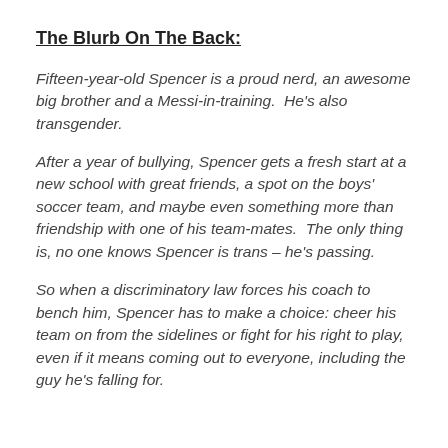The Blurb On The Back:
Fifteen-year-old Spencer is a proud nerd, an awesome big brother and a Messi-in-training.  He's also transgender.
After a year of bullying, Spencer gets a fresh start at a new school with great friends, a spot on the boys' soccer team, and maybe even something more than friendship with one of his team-mates.  The only thing is, no one knows Spencer is trans – he's passing.
So when a discriminatory law forces his coach to bench him, Spencer has to make a choice: cheer his team on from the sidelines or fight for his right to play, even if it means coming out to everyone, including the guy he's falling for.